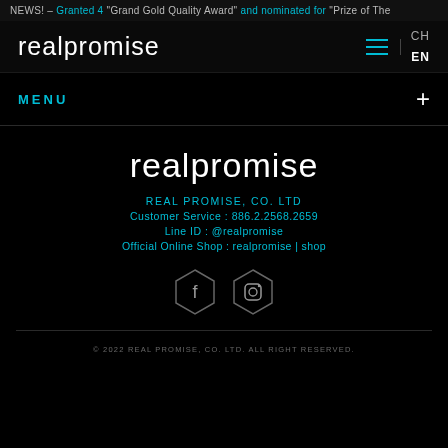NEWS! – Granted 4 "Grand Gold Quality Award" and nominated for "Prize of The...
realpromise
CH EN
MENU
realpromise
REAL PROMISE, CO. LTD
Customer Service : 886.2.2568.2659
Line ID : @realpromise
Official Online Shop : realpromise | shop
[Figure (illustration): Facebook hexagon icon and Instagram hexagon icon in grey outline style]
© 2022 REAL PROMISE, CO. LTD. ALL RIGHT RESERVED.